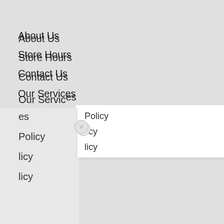About Us
Store Hours
Contact Us
Our Services
Policy (partially visible)
licy (partially visible)
licy (partially visible)
n Touch
r our newsletter and be the first to know about nd special promotions.
nail@example.com
[Figure (infographic): Social media icons row: Twitter, Facebook, Pinterest, Instagram — teal outlined circles]